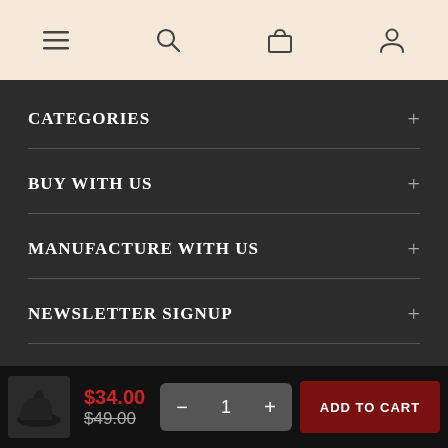Navigation header with menu, search, cart, and account icons
CATEGORIES
BUY WITH US
MANUFACTURE WITH US
NEWSLETTER SIGNUP
$34.00 $49.00 — 1 — ADD TO CART